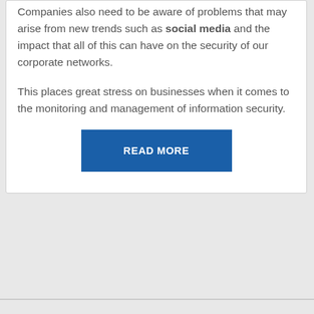Companies also need to be aware of problems that may arise from new trends such as social media and the impact that all of this can have on the security of our corporate networks.
This places great stress on businesses when it comes to the monitoring and management of information security.
READ MORE